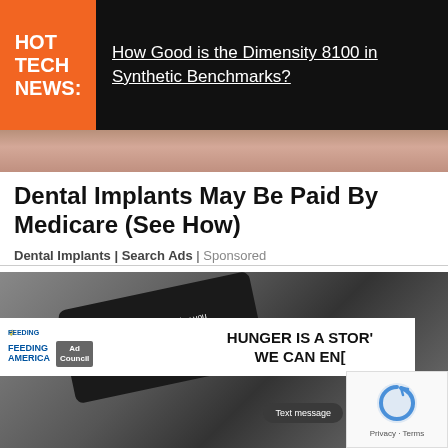[Figure (screenshot): Hot Tech News banner with orange box containing 'HOT TECH NEWS:' and headline link 'How Good is the Dimensity 8100 in Synthetic Benchmarks?' on black background]
[Figure (photo): Photo strip showing people in background]
Dental Implants May Be Paid By Medicare (See How)
Dental Implants | Search Ads | Sponsored
[Figure (photo): Smartphone on wicker surface showing text message notification about Concealed Carry Gun, with Feeding America/Ad Council banner overlay showing 'HUNGER IS A STORY WE CAN END']
[Figure (logo): reCAPTCHA widget with Privacy - Terms footer]